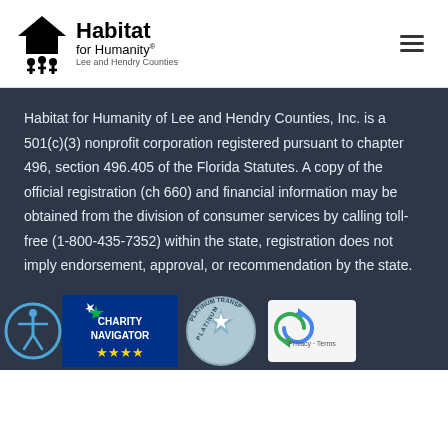[Figure (logo): Habitat for Humanity Lee and Hendry Counties logo with house/people icon]
Habitat for Humanity of Lee and Hendry Counties, Inc. is a 501(c)(3) nonprofit corporation registered pursuant to chapter 496, section 496.405 of the Florida Statutes. A copy of the official registration (ch 660) and financial information may be obtained from the division of consumer services by calling toll-free (1-800-435-7352) within the state, registration does not imply endorsement, approval, or recommendation by the state.
[Figure (logo): Accessibility icon (person in circle), Charity Navigator badge with star logo and gold stars, 4-Star Platinum Transparency badge, reCAPTCHA Privacy Terms widget]